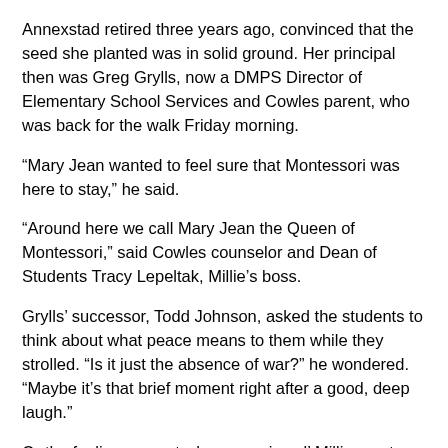Annexstad retired three years ago, convinced that the seed she planted was in solid ground. Her principal then was Greg Grylls, now a DMPS Director of Elementary School Services and Cowles parent, who was back for the walk Friday morning.
“Mary Jean wanted to feel sure that Montessori was here to stay,” he said.
“Around here we call Mary Jean the Queen of Montessori,” said Cowles counselor and Dean of Students Tracy Lepeltak, Millie’s boss.
Grylls’ successor, Todd Johnson, asked the students to think about what peace means to them while they strolled. “Is it just the absence of war?” he wondered. “Maybe it’s that brief moment right after a good, deep laugh.”
Or the feeling you get when you give ol’ Millie a pat on the head or scratch her ears and she smiles up at you.
Maria Montessori believed that, “Establishing lasting peace is the work of education; all politics can do is keep us out of war,”